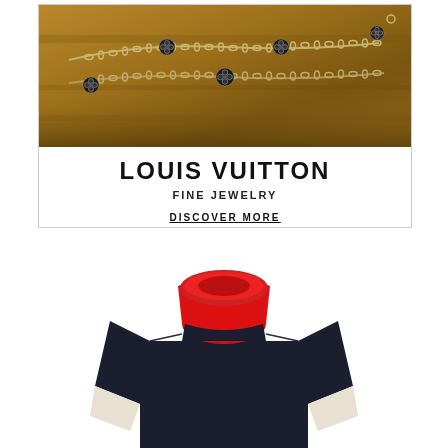[Figure (photo): Close-up photo of Louis Vuitton fine jewelry chains with monogram flower pendants on a warm brown stone surface]
LOUIS VUITTON
FINE JEWELRY
DISCOVER MORE
[Figure (photo): Louis Vuitton colorblock turtleneck sweater — navy body with cream/white sleeves and bright red turtleneck collar, displayed on white background]